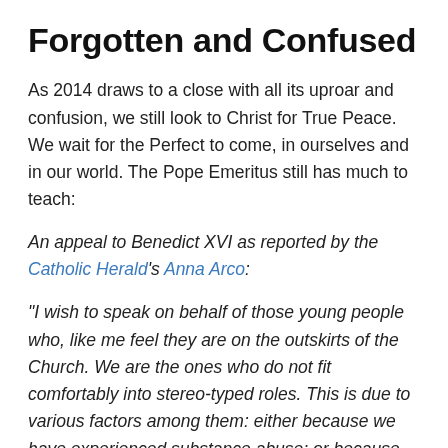Forgotten and Confused
As 2014 draws to a close with all its uproar and confusion, we still look to Christ for True Peace.  We wait for the Perfect to come, in ourselves and in our world. The Pope Emeritus still has much to teach:
An appeal to Benedict XVI as reported by the Catholic Herald's Anna Arco:
"I wish to speak on behalf of those young people who, like me feel they are on the outskirts of the Church. We are the ones who do not fit comfortably into stereo-typed roles. This is due to various factors among them: either because we have experienced substance abuse; or because we are experiencing the misfortune of broken or dysfunctional families; or because we are of a different sexual